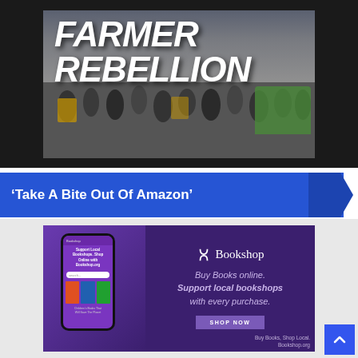[Figure (photo): Photo of a farmer protest/rebellion scene with a crowd of people outdoors, overlaid with bold italic white text reading 'FARMER REBELLION']
'Take A Bite Out Of Amazon'
[Figure (screenshot): Screenshot/advertisement for Bookshop.org showing a phone mockup with the app on a purple background, and text: 'Bookshop - Buy Books online. Support local bookshops with every purchase.' with a SHOP NOW button. Footer text: 'Buy Books, Shop Local. Bookshop.org']